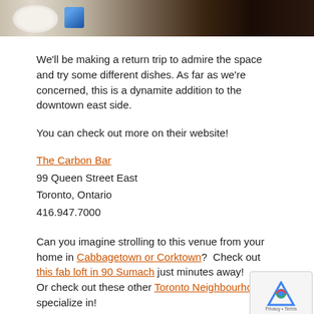[Figure (photo): Partial photo showing a plate and a blue item on a dark background, cropped at top of page]
We'll be making a return trip to admire the space and try some different dishes. As far as we're concerned, this is a dynamite addition to the downtown east side.
You can check out more on their website!
The Carbon Bar
99 Queen Street East
Toronto, Ontario
416.947.7000
Can you imagine strolling to this venue from your home in Cabbagetown or Corktown?  Check out this fab loft in 90 Sumach just minutes away! Or check out these other Toronto Neighbourhoods specialize in!